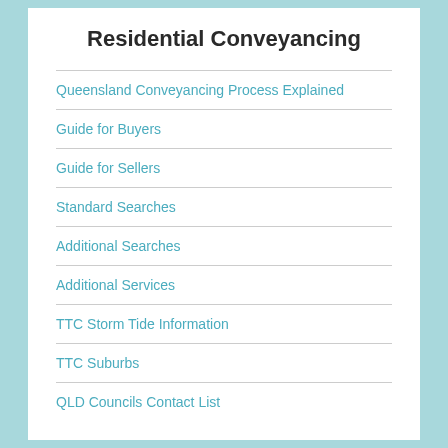Residential Conveyancing
Queensland Conveyancing Process Explained
Guide for Buyers
Guide for Sellers
Standard Searches
Additional Searches
Additional Services
TTC Storm Tide Information
TTC Suburbs
QLD Councils Contact List